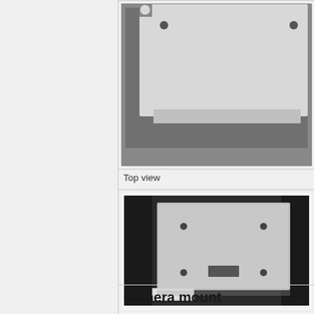[Figure (engineering-diagram): Top view of a device/hardware component — light gray flat panel with two small circular holes/bolts, shown against a medium gray background, cropped at top]
Top view
[Figure (engineering-diagram): Back view of a camera mount — light gray square panel with four small circular holes at corners and a rectangular connector slot at center-bottom, mounted on a small white base, shown against dark gray background]
Back view
Camera mount